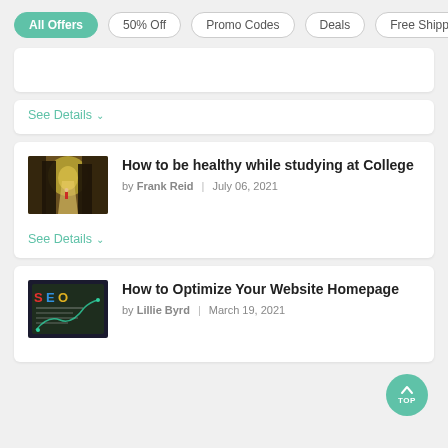All Offers | 50% Off | Promo Codes | Deals | Free Shipping
See Details
How to be healthy while studying at College
by Frank Reid | July 06, 2021
See Details
How to Optimize Your Website Homepage
by Lillie Byrd | March 19, 2021